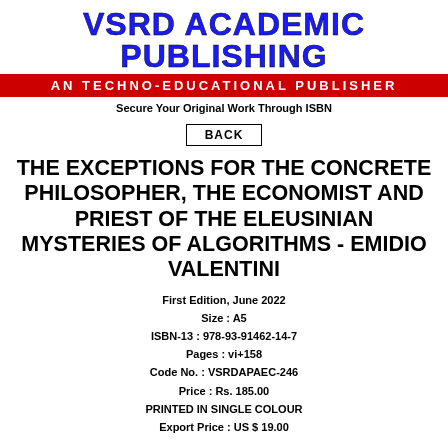VSRD ACADEMIC PUBLISHING
AN TECHNO-EDUCATIONAL PUBLISHER
Secure Your Original Work Through ISBN
BACK
THE EXCEPTIONS FOR THE CONCRETE PHILOSOPHER, THE ECONOMIST AND PRIEST OF THE ELEUSINIAN MYSTERIES OF ALGORITHMS - EMIDIO VALENTINI
First Edition, June 2022
Size : A5
ISBN-13 : 978-93-91462-14-7
Pages : vi+158
Code No. : VSRDAPAEC-246
Price : Rs. 185.00
PRINTED IN SINGLE COLOUR
Export Price : US $ 19.00